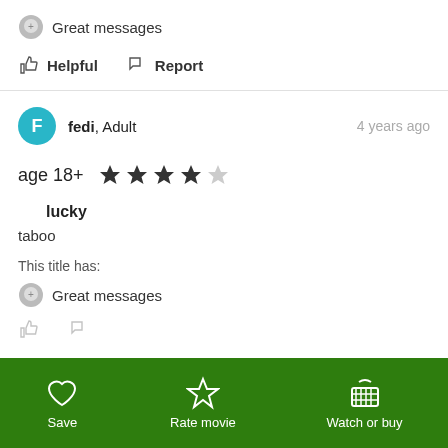Great messages
Helpful   Report
fedi, Adult   4 years ago
age 18+  ★★★★☆
lucky
taboo
This title has:
Great messages
Save   Rate movie   Watch or buy